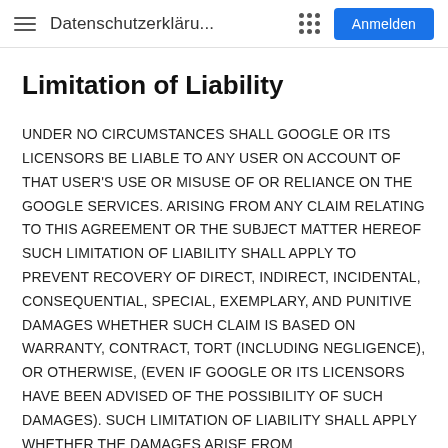Datenschutzerklärу... Anmelden
Limitation of Liability
UNDER NO CIRCUMSTANCES SHALL GOOGLE OR ITS LICENSORS BE LIABLE TO ANY USER ON ACCOUNT OF THAT USER'S USE OR MISUSE OF OR RELIANCE ON THE GOOGLE SERVICES. ARISING FROM ANY CLAIM RELATING TO THIS AGREEMENT OR THE SUBJECT MATTER HEREOF SUCH LIMITATION OF LIABILITY SHALL APPLY TO PREVENT RECOVERY OF DIRECT, INDIRECT, INCIDENTAL, CONSEQUENTIAL, SPECIAL, EXEMPLARY, AND PUNITIVE DAMAGES WHETHER SUCH CLAIM IS BASED ON WARRANTY, CONTRACT, TORT (INCLUDING NEGLIGENCE), OR OTHERWISE, (EVEN IF GOOGLE OR ITS LICENSORS HAVE BEEN ADVISED OF THE POSSIBILITY OF SUCH DAMAGES). SUCH LIMITATION OF LIABILITY SHALL APPLY WHETHER THE DAMAGES ARISE FROM